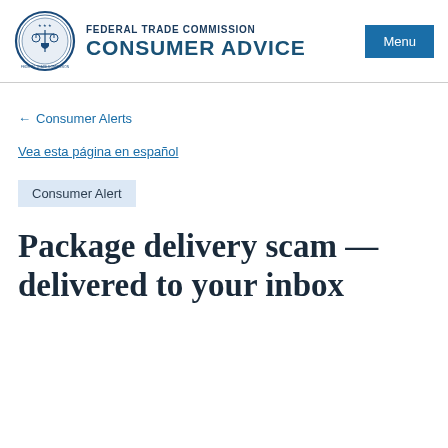FEDERAL TRADE COMMISSION CONSUMER ADVICE
← Consumer Alerts
Vea esta página en español
Consumer Alert
Package delivery scam — delivered to your inbox